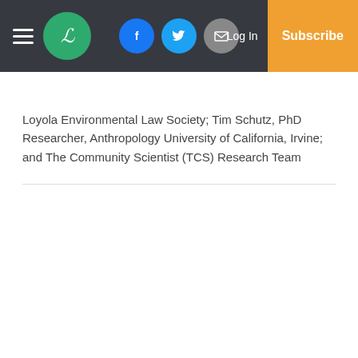Loyola Law School publication website header with logo, social icons (Facebook, Twitter, Email), Log In, and Subscribe button
Loyola Environmental Law Society; Tim Schutz, PhD Researcher, Anthropology University of California, Irvine; and The Community Scientist (TCS) Research Team